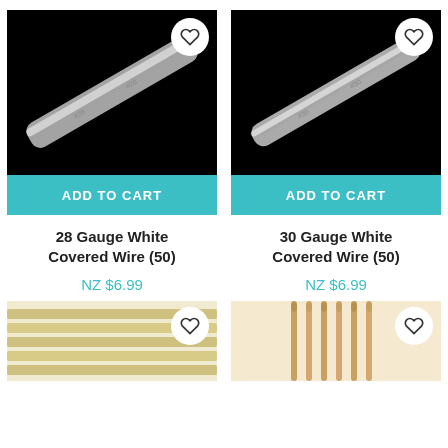[Figure (photo): 28 Gauge White Covered Wire on black background with Add to Cart teal button]
[Figure (photo): 30 Gauge White Covered Wire on black background with Add to Cart teal button]
28 Gauge White Covered Wire (50)
NZ $6.99
30 Gauge White Covered Wire (50)
NZ $6.99
[Figure (photo): Partial product image bottom left - appears to be flat wooden sticks on light background]
[Figure (photo): Partial product image bottom right - appears to be wooden skewers/toothpicks on light background]